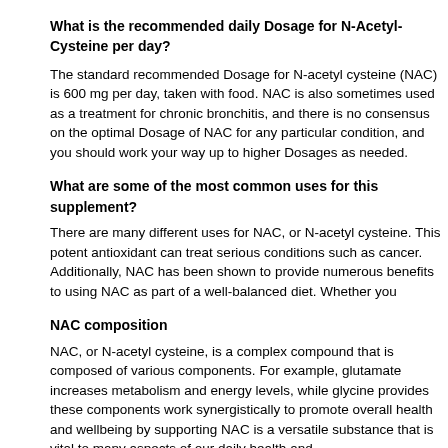What is the recommended daily Dosage for N-Acetyl-Cysteine per day?
The standard recommended Dosage for N-acetyl cysteine (NAC) is 600 mg per day, taken with food. NAC is also sometimes used as a treatment for chronic bronchitis, and there is no consensus on the optimal Dosage of NAC for any particular condition, and you should work your way up to higher Dosages as needed.
What are some of the most common uses for this supplement?
There are many different uses for NAC, or N-acetyl cysteine. This potent antioxidant can treat serious conditions such as cancer. Additionally, NAC has been shown to provide numerous benefits to using NAC as part of a well-balanced diet. Whether you
NAC composition
NAC, or N-acetyl cysteine, is a complex compound that is composed of various components. For example, glutamate increases metabolism and energy levels, while glycine provides these components work synergistically to promote overall health and wellbeing by supporting NAC is a versatile substance that is vital to many aspects of our daily health and
NAC and liver health
N-Acetyl-Cysteine (NAC) is a compound that has numerous benefits for liver health. NAC is an antioxidant that helps to detoxify the liver. NAC also helps to reduce inflammation and the overall health of people with Liver cirrhosis. Consequently, N-Acetyl-Cysteine